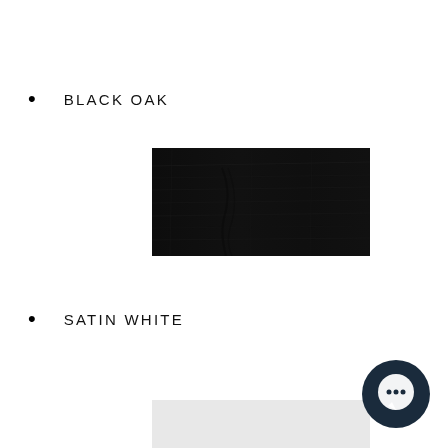BLACK OAK
[Figure (photo): Black oak wood grain texture swatch, rectangular, very dark/black with wood grain lines visible]
SATIN WHITE
[Figure (photo): Satin white color swatch, rectangular, light grey/white]
[Figure (other): Dark navy circular chat/message bubble icon in bottom right corner]